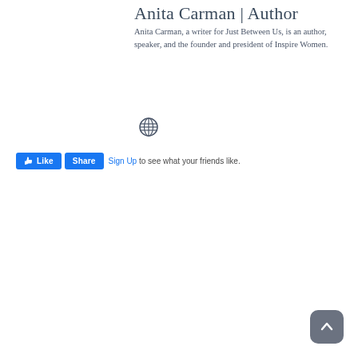Anita Carman | Author
Anita Carman, a writer for Just Between Us, is an author, speaker, and the founder and president of Inspire Women.
[Figure (other): Globe / website icon]
[Figure (screenshot): Facebook Like and Share buttons with 'Sign Up to see what your friends like.' text]
[Figure (other): Back to top button with upward chevron arrow, dark grey rounded square]